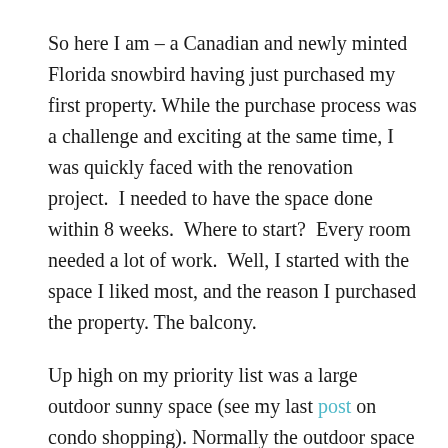So here I am – a Canadian and newly minted Florida snowbird having just purchased my first property. While the purchase process was a challenge and exciting at the same time, I was quickly faced with the renovation project. I needed to have the space done within 8 weeks. Where to start? Every room needed a lot of work. Well, I started with the space I liked most, and the reason I purchased the property. The balcony.
Up high on my priority list was a large outdoor sunny space (see my last post on condo shopping). Normally the outdoor space is the last area of attention, but I really did not want to overlook it. I have a south-facing unit, which affords me sunshine most of the day. Given that Florida beach weather